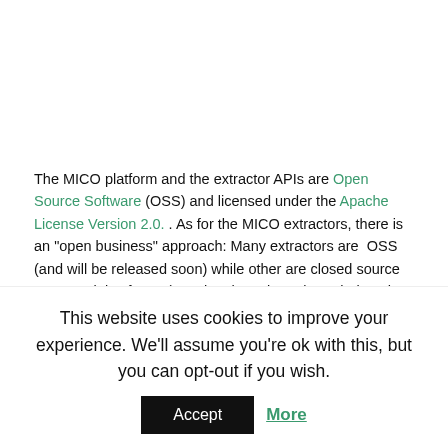The MICO platform and the extractor APIs are Open Source Software (OSS) and licensed under the Apache License Version 2.0. . As for the MICO extractors, there is an “open business” approach: Many extractors are  OSS (and will be released soon) while other are closed source commercial software(e.g. they have been brought into the project as so-called “background knowledge”). The modular, service based MICO
This website uses cookies to improve your experience. We'll assume you're ok with this, but you can opt-out if you wish.
Accept  More